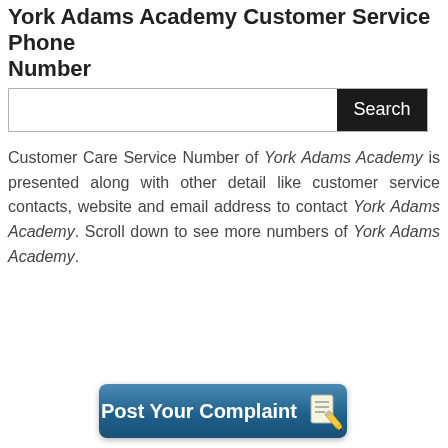York Adams Academy Customer Service Phone Number
[Figure (other): Search bar with text input field and black Search button]
Customer Care Service Number of York Adams Academy is presented along with other detail like customer service contacts, website and email address to contact York Adams Academy. Scroll down to see more numbers of York Adams Academy.
[Figure (other): Blue rounded button labeled Post Your Complaint with a notepad and pencil icon]